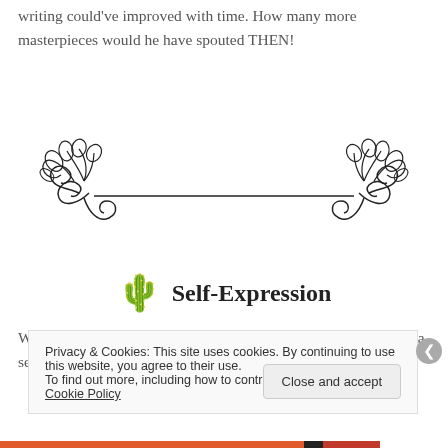writing could've improved with time. How many more masterpieces would he have spouted THEN!
[Figure (illustration): Decorative floral divider with leaves and swirls on left and right ends connected by a horizontal line]
Self-Expression
When you read all those already established writers – writing in a set style that's gotten them loads of success, you see it as a
Privacy & Cookies: This site uses cookies. By continuing to use this website, you agree to their use.
To find out more, including how to control cookies, see here: Cookie Policy
Close and accept